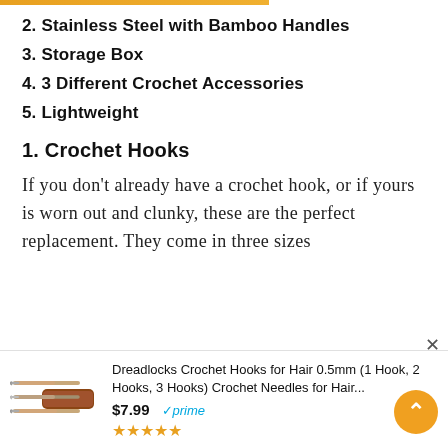2. Stainless Steel with Bamboo Handles
3. Storage Box
4. 3 Different Crochet Accessories
5. Lightweight
1. Crochet Hooks
If you don't already have a crochet hook, or if yours is worn out and clunky, these are the perfect replacement. They come in three sizes ×
[Figure (photo): Photo of dreadlock crochet hooks with bamboo handles and a storage case]
Dreadlocks Crochet Hooks for Hair 0.5mm (1 Hook, 2 Hooks, 3 Hooks) Crochet Needles for Hair... $7.99 prime ★★★★★